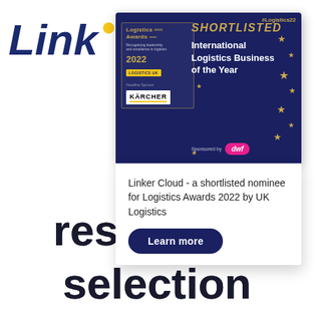[Figure (logo): Linker Cloud logo - blue italic bold text 'Link' with yellow dot]
[Figure (infographic): Logistics Awards 2022 shortlist card - dark navy background with gold stars, SHORTLISTED badge, International Logistics Business of the Year award, sponsored by dwf, Karcher as headline sponsor, Logistics UK badge]
Linker Cloud - a shortlisted nominee for Logistics Awards 2022 by UK Logistics
Learn more
resources
selection